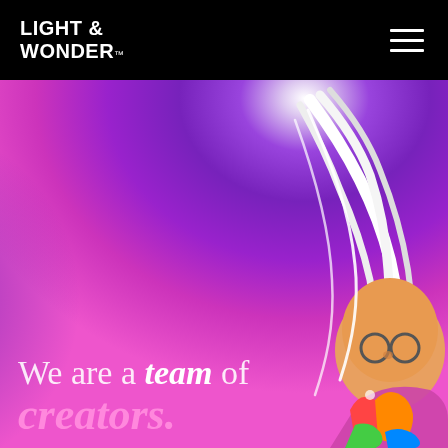LIGHT & WONDER™
[Figure (illustration): Hero banner with purple-to-pink radial gradient background and a colorful cartoon wizard/creator character on the right side]
We are a team of creators.